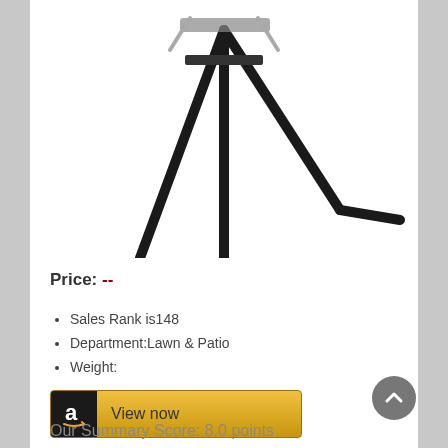[Figure (photo): Product photo showing black tripod/easel legs on white background, partially cropped at top]
Price: --
Sales Rank is148
Department:Lawn & Patio
Weight:
[Figure (other): Amazon 'View now' button with Amazon logo icon]
Our Summary Score: 8.0 points